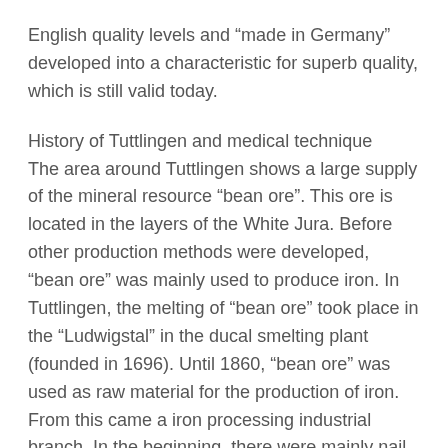English quality levels and “made in Germany” developed into a characteristic for superb quality, which is still valid today.
History of Tuttlingen and medical technique
The area around Tuttlingen shows a large supply of the mineral resource “bean ore”. This ore is located in the layers of the White Jura. Before other production methods were developed, “bean ore” was mainly used to produce iron. In Tuttlingen, the melting of “bean ore” took place in the “Ludwigstal” in the ducal smelting plant (founded in 1696). Until 1860, “bean ore” was used as raw material for the production of iron. From this came a iron processing industrial branch. In the beginning, there were mainly nail and knife forges. Due to influences coming from Paris, at that time, the world centre of surgery, other ideas came to Tuttlingen. With the foundation of the company “Jetter” in 1867, from which later the company “Aesculan” developed